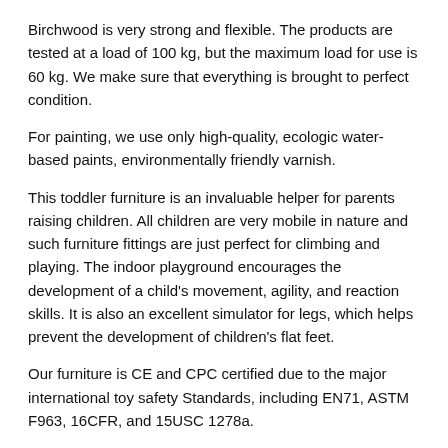Birchwood is very strong and flexible. The products are tested at a load of 100 kg, but the maximum load for use is 60 kg. We make sure that everything is brought to perfect condition.
For painting, we use only high-quality, ecologic water-based paints, environmentally friendly varnish.
This toddler furniture is an invaluable helper for parents raising children. All children are very mobile in nature and such furniture fittings are just perfect for climbing and playing. The indoor playground encourages the development of a child's movement, agility, and reaction skills. It is also an excellent simulator for legs, which helps prevent the development of children's flat feet.
Our furniture is CE and CPC certified due to the major international toy safety Standards, including EN71, ASTM F963, 16CFR, and 15USC 1278a.
DIMENSIONS
[Figure (other): A horizontal slider/range bar with two circular endpoints connected by a thick line, indicating a dimension range selector.]
| DIMENSIONS | Height | Length | Width |
| --- | --- | --- | --- |
| Large Size |  |  |  |